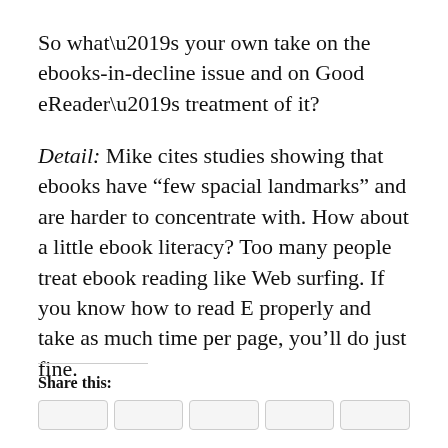So what’s your own take on the ebooks-in-decline issue and on Good eReader’s treatment of it?
Detail: Mike cites studies showing that ebooks have “few spacial landmarks” and are harder to concentrate with. How about a little ebook literacy? Too many people treat ebook reading like Web surfing. If you know how to read E properly and take as much time per page, you’ll do just fine.
Share this: